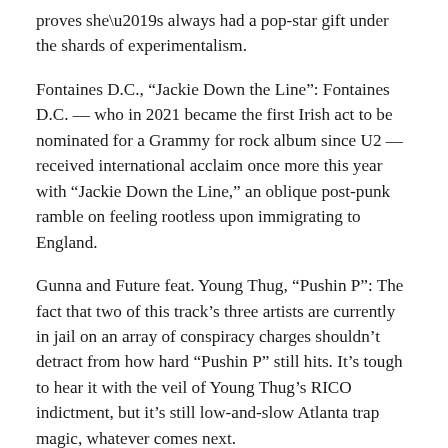proves she’s always had a pop-star gift under the shards of experimentalism.
Fontaines D.C., “Jackie Down the Line”: Fontaines D.C. — who in 2021 became the first Irish act to be nominated for a Grammy for rock album since U2 — received international acclaim once more this year with “Jackie Down the Line,” an oblique post-punk ramble on feeling rootless upon immigrating to England.
Gunna and Future feat. Young Thug, “Pushin P”: The fact that two of this track’s three artists are currently in jail on an array of conspiracy charges shouldn’t detract from how hard “Pushin P” still hits. It’s tough to hear it with the veil of Young Thug’s RICO indictment, but it’s still low-and-slow Atlanta trap magic, whatever comes next.
Jack Harlow, “First Class”: “I know what they like, so I just keep cheesin’,” Harlow raps over a perfect Fergie sample that proves he’s right.
Health x Lamb of God, “Cold Blood”: On this stellar cut from